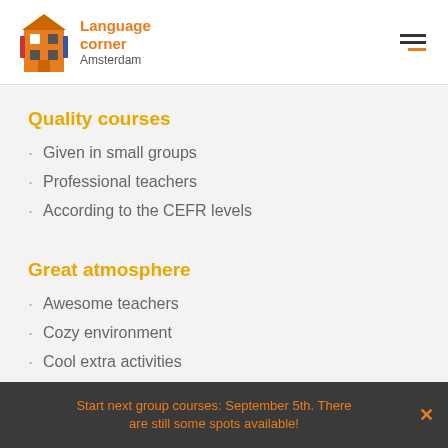[Figure (logo): Language Corner Amsterdam logo with illustrated orange building icon and orange text]
Quality courses
Given in small groups
Professional teachers
According to the CEFR levels
Great atmosphere
Awesome teachers
Cozy environment
Cool extra activities
Start next group courses: September 5th. There are still some spots available!